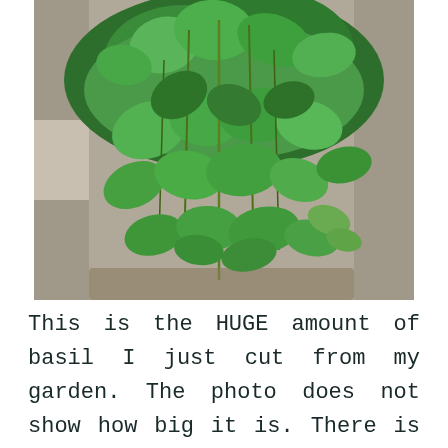[Figure (photo): A large bunch of fresh green basil leaves cut from a garden, piled high and cascading downward, photographed from above on what appears to be a stone or concrete surface.]
This is the HUGE amount of basil I just cut from my garden. The photo does not show how big it is. There is also a random vine